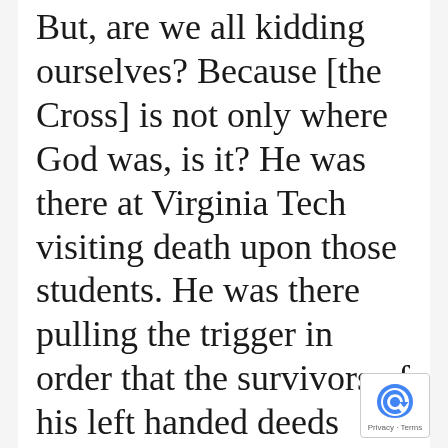But, are we all kidding ourselves? Because [the Cross] is not only where God was, is it? He was there at Virginia Tech visiting death upon those students. He was there pulling the trigger in order that the survivors of his left handed deeds might recognize their need for his right handed deeds on the cross.